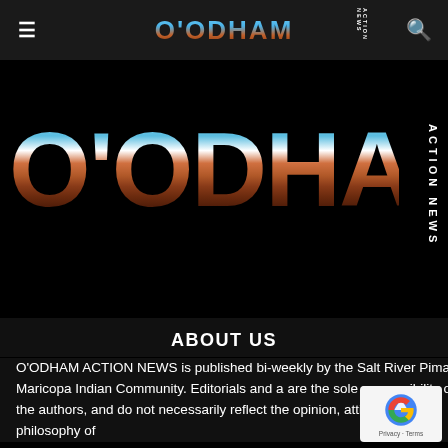O'ODHAM ACTION NEWS
[Figure (logo): Large O'ODHAM ACTION NEWS logo with desert landscape photo fill on letters, displayed on black background]
ABOUT US
O'ODHAM ACTION NEWS is published bi-weekly by the Salt River Pima-Maricopa Indian Community. Editorials and a are the sole responsibility of the authors, and do not necessarily reflect the opinion, attitude or philosophy of